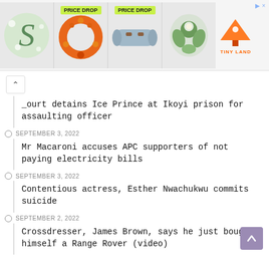[Figure (screenshot): Advertisement banner with four product images (floral letter, orange wreath with PRICE DROP badge, grey rolled blanket with PRICE DROP badge, green flower arrangement) and Tiny Land logo on right]
Court detains Ice Prince at Ikoyi prison for assaulting officer
SEPTEMBER 3, 2022 — Mr Macaroni accuses APC supporters of not paying electricity bills
SEPTEMBER 3, 2022 — Contentious actress, Esther Nwachukwu commits suicide
SEPTEMBER 2, 2022 — Crossdresser, James Brown, says he just bought himself a Range Rover (video)